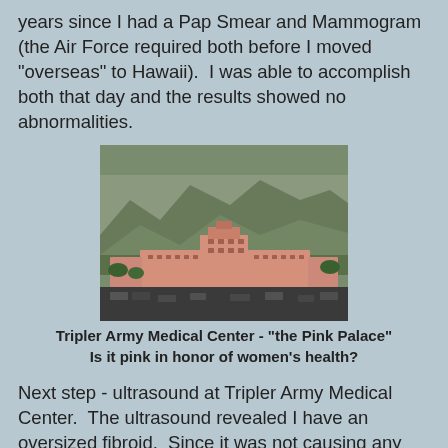years since I had a Pap Smear and Mammogram (the Air Force required both before I moved "overseas" to Hawaii).  I was able to accomplish both that day and the results showed no abnormalities.
[Figure (photo): Aerial photograph of Tripler Army Medical Center, a large pink building nestled against green mountains in Hawaii.]
Tripler Army Medical Center - "the Pink Palace"
Is it pink in honor of women's health?
Next step - ultrasound at Tripler Army Medical Center.  The ultrasound revealed I have an oversized fibroid.  Since it was not causing any discomfort, I could delay surgery so I could travel to the mainland for my father's memorial service, the RWA National Convention, and my cousin's wedding.
During the convention, I learned that Avon is sponsoring a